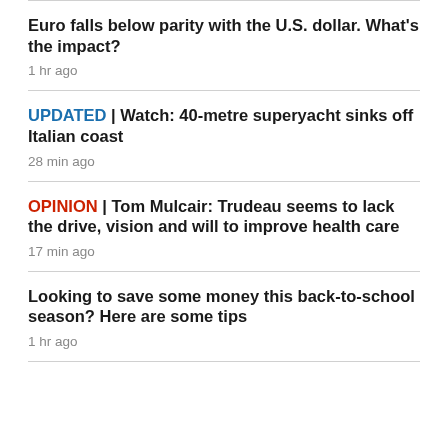Euro falls below parity with the U.S. dollar. What's the impact?
1 hr ago
UPDATED | Watch: 40-metre superyacht sinks off Italian coast
28 min ago
OPINION | Tom Mulcair: Trudeau seems to lack the drive, vision and will to improve health care
17 min ago
Looking to save some money this back-to-school season? Here are some tips
1 hr ago